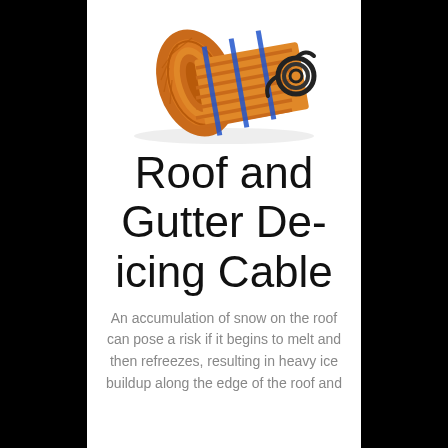[Figure (photo): A rolled-up roof and gutter de-icing heating cable mat with orange heating elements held together by blue straps, with a black power cord coiled at one end, shown on a white background.]
Roof and Gutter De-icing Cable
An accumulation of snow on the roof can pose a risk if it begins to melt and then refreezes, resulting in heavy ice buildup along the edge of the roof and